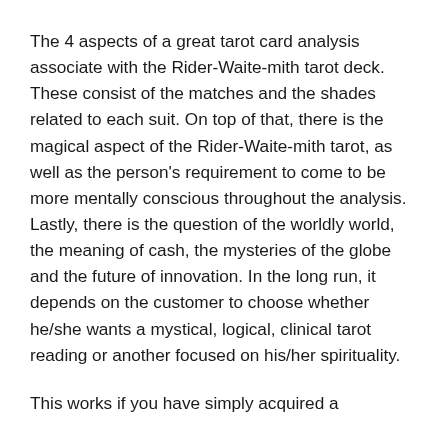The 4 aspects of a great tarot card analysis associate with the Rider-Waite-mith tarot deck. These consist of the matches and the shades related to each suit. On top of that, there is the magical aspect of the Rider-Waite-mith tarot, as well as the person's requirement to come to be more mentally conscious throughout the analysis. Lastly, there is the question of the worldly world, the meaning of cash, the mysteries of the globe and the future of innovation. In the long run, it depends on the customer to choose whether he/she wants a mystical, logical, clinical tarot reading or another focused on his/her spirituality.
This works if you have simply acquired a